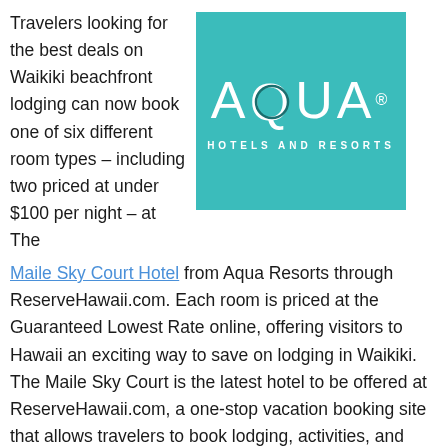Travelers looking for the best deals on Waikiki beachfront lodging can now book one of six different room types – including two priced at under $100 per night – at The Maile Sky Court Hotel from Aqua Resorts through ReserveHawaii.com. Each room is priced at the Guaranteed Lowest Rate online, offering visitors to Hawaii an exciting way to save on lodging in Waikiki. The Maile Sky Court is the latest hotel to be offered at ReserveHawaii.com, a one-stop vacation booking site that allows travelers to book
[Figure (logo): Aqua Hotels and Resorts logo on teal/turquoise background with large AQUA text and ring around the letter Q]